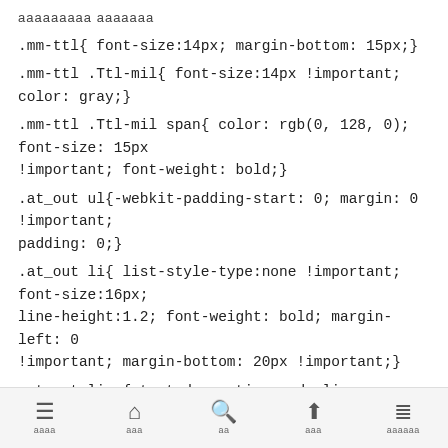ааааааааа ааааааа
.mm-ttl{ font-size:14px; margin-bottom: 15px;}
.mm-ttl .Ttl-mil{ font-size:14px !important; color: gray;}
.mm-ttl .Ttl-mil span{ color: rgb(0, 128, 0); font-size: 15px !important; font-weight: bold;}
.at_out ul{-webkit-padding-start: 0; margin: 0 !important; padding: 0;}
.at_out li{ list-style-type:none !important; font-size:16px; line-height:1.2; font-weight: bold; margin-left: 0 !important; margin-bottom: 20px !important;}
.at_out li a{ text-decoration:underline; color:rgb(0, 102, 204); list-style-type:none;}
.pc_none{ display:none;}
.sp_none{ display:block;}
メニュー　　ホーム　　検索　　上へ　　カテゴリー